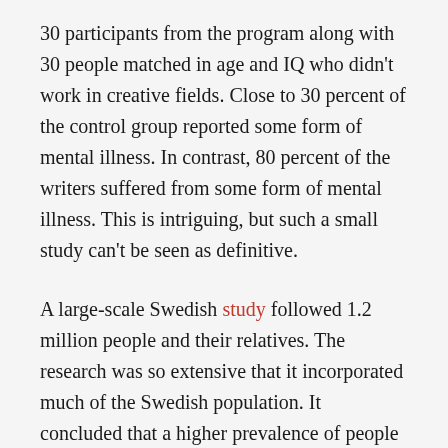30 participants from the program along with 30 people matched in age and IQ who didn't work in creative fields. Close to 30 percent of the control group reported some form of mental illness. In contrast, 80 percent of the writers suffered from some form of mental illness. This is intriguing, but such a small study can't be seen as definitive.
A large-scale Swedish study followed 1.2 million people and their relatives. The research was so extensive that it incorporated much of the Swedish population. It concluded that a higher prevalence of people with bipolar disorder were working in creative fields. Again, there were limitations to the study. In large part that had to do with how the data was collected. Researchers compared medical records to occupations, deciding, for example that people working as accountants and